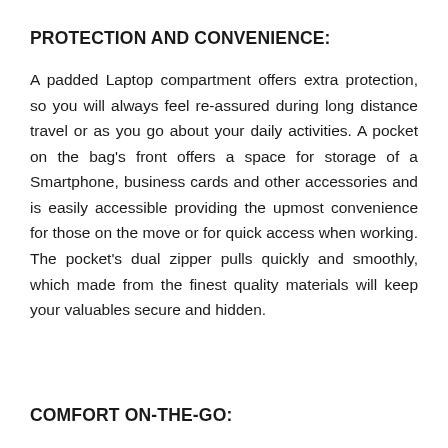PROTECTION AND CONVENIENCE:
A padded Laptop compartment offers extra protection, so you will always feel re-assured during long distance travel or as you go about your daily activities. A pocket on the bag's front offers a space for storage of a Smartphone, business cards and other accessories and is easily accessible providing the upmost convenience for those on the move or for quick access when working. The pocket's dual zipper pulls quickly and smoothly, which made from the finest quality materials will keep your valuables secure and hidden.
COMFORT ON-THE-GO: